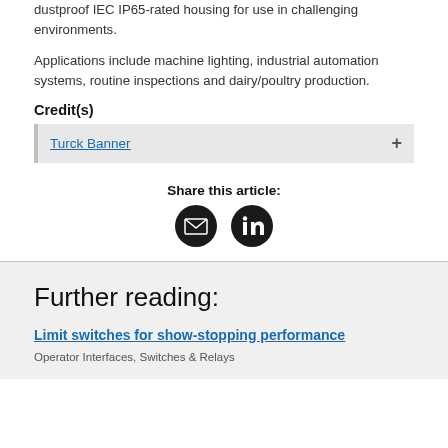dustproof IEC IP65-rated housing for use in challenging environments.
Applications include machine lighting, industrial automation systems, routine inspections and dairy/poultry production.
Credit(s)
Turck Banner
Share this article:
Further reading:
Limit switches for show-stopping performance
Operator Interfaces, Switches & Relays